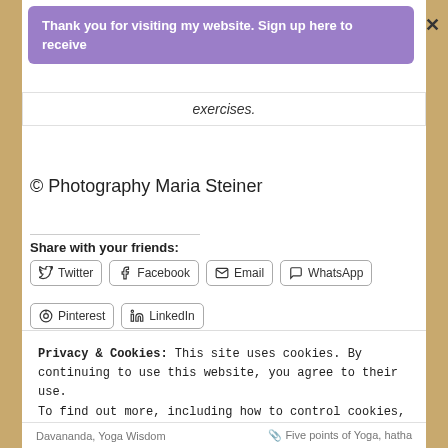Thank you for visiting my website. Sign up here to receive
exercises.
© Photography Maria Steiner
Share with your friends:
Twitter
Facebook
Email
WhatsApp
Pinterest
LinkedIn
Privacy & Cookies: This site uses cookies. By continuing to use this website, you agree to their use. To find out more, including how to control cookies, see here: Cookie Policy
Close and accept
Davananda, Yoga Wisdom   Five points of Yoga, hatha